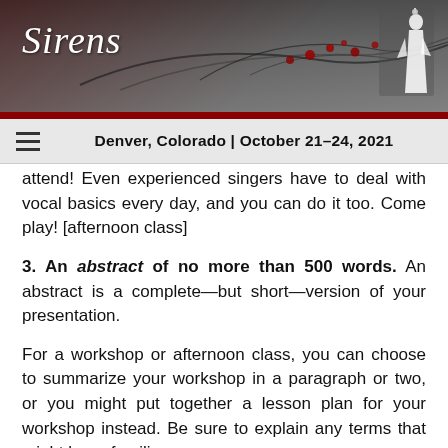Sirens — Denver, Colorado | October 21–24, 2021
attend! Even experienced singers have to deal with vocal basics every day, and you can do it too. Come play! [afternoon class]
3. An abstract of no more than 500 words. An abstract is a complete—but short—version of your presentation.
For a workshop or afternoon class, you can choose to summarize your workshop in a paragraph or two, or you might put together a lesson plan for your workshop instead. Be sure to explain any terms that might be unfamiliar.
You are welcome to submit a lesson plan; an outline of your plans can be more helpful than